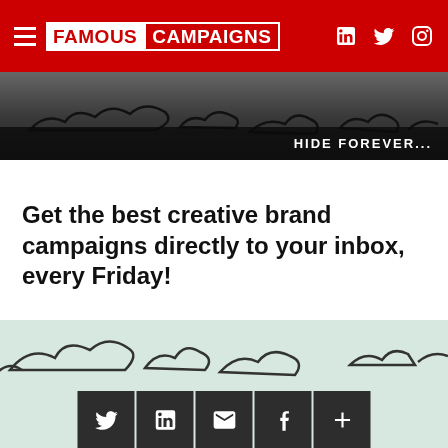FAMOUS CAMPAIGNS
[Figure (screenshot): Dark decorative banner with cloud/smoke shapes and HIDE FOREVER... text]
Get the best creative brand campaigns directly to your inbox, every Friday!
SUBSCRIBE TODAY
[Figure (illustration): Light green banner with decorative cloud/smoke shapes and social media icon buttons (Twitter, LinkedIn, Email, Facebook, Plus)]